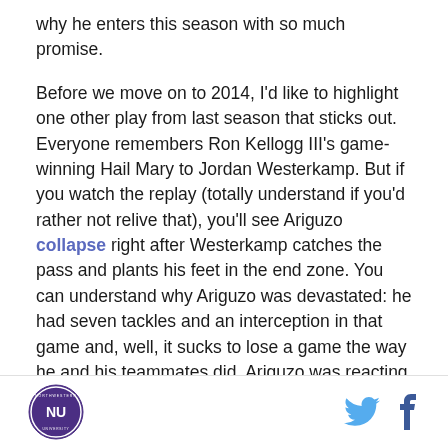why he enters this season with so much promise.
Before we move on to 2014, I'd like to highlight one other play from last season that sticks out. Everyone remembers Ron Kellogg III's game-winning Hail Mary to Jordan Westerkamp. But if you watch the replay (totally understand if you'd rather not relive that), you'll see Ariguzo collapse right after Westerkamp catches the pass and plants his feet in the end zone. You can understand why Ariguzo was devastated: he had seven tackles and an interception in that game and, well, it sucks to lose a game the way he and his teammates did. Ariguzo was reacting to a horrific stroke of bad luck, but the way he fell to the ground, overcome with grief, and lay there summed up Northwestern's
NU logo, Twitter icon, Facebook icon